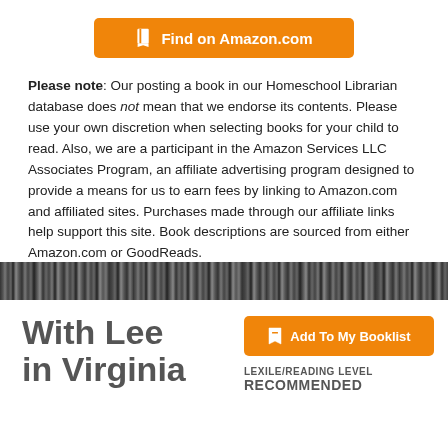[Figure (other): Orange 'Find on Amazon.com' button with book icon]
Please note: Our posting a book in our Homeschool Librarian database does not mean that we endorse its contents. Please use your own discretion when selecting books for your child to read. Also, we are a participant in the Amazon Services LLC Associates Program, an affiliate advertising program designed to provide a means for us to earn fees by linking to Amazon.com and affiliated sites. Purchases made through our affiliate links help support this site. Book descriptions are sourced from either Amazon.com or GoodReads.
[Figure (photo): Black and white bookshelf bar background image]
With Lee in Virginia
[Figure (other): Orange 'Add To My Booklist' button with bookmark icon]
LEXILE/READING LEVEL RECOMMENDED